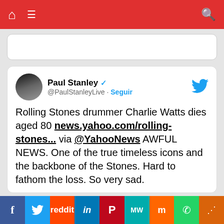Navigation bar with home, menu, and search icons
Paul Stanley @PaulStanleyLive · Seguir
Rolling Stones drummer Charlie Watts dies aged 80 news.yahoo.com/rolling-stones... via @YahooNews AWFUL NEWS. One of the true timeless icons and the backbone of the Stones. Hard to fathom the loss. So very sad.
Usamos cookies para asegurar que te damos la mejor experiencia en nuestra web. Si continúas usando este sitio, asumiremos que estás de acuerdo con ello.
f  Twitter  Reddit  in  Pinterest  MW  Mix  WhatsApp  Share